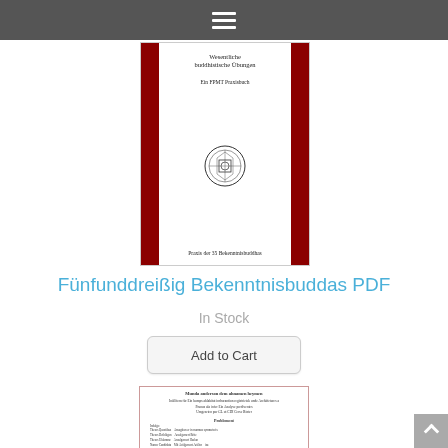Navigation menu (hamburger icon)
[Figure (photo): Book cover for 'Wesentliche buddhistische Übungen – Ein FPMT Praxisbuch', with dark red side stripes, circular seal/logo in center, subtitle 'Praxis der 35 Bekennnisbuddhas']
Fünfunddreißig Bekenntnisbuddas PDF
In Stock
Add to Cart
[Figure (photo): Second book interior page preview showing German text content and table of contents]